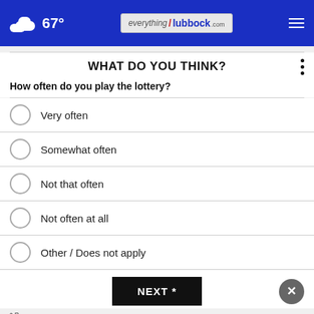67° everything Lubbock .com
WHAT DO YOU THINK?
How often do you play the lottery?
Very often
Somewhat often
Not that often
Not often at all
Other / Does not apply
NEXT *
[Figure (other): Advertisement banner for Renwick Chapman Flooring America. Text: A Beautiful Home Starts From The Floors Up. 4517 50th. 806-687-3411]